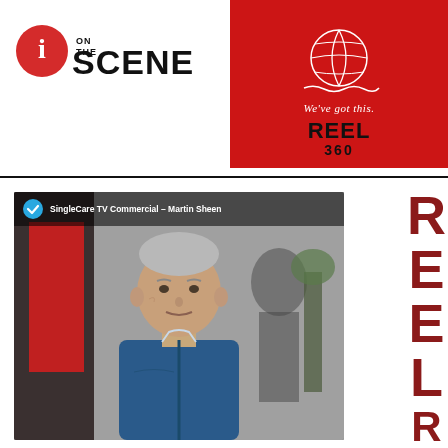[Figure (logo): i On The Scene logo with red circle containing letter i and bold text ON THE SCENE]
[Figure (illustration): Reel 360 advertisement banner on red background with globe line drawing, tagline We've got this., and bold text REEL 360]
[Figure (screenshot): Video thumbnail showing SingleCare TV Commercial - Martin Sheen, featuring an older man in blue sweater]
R E E L
R